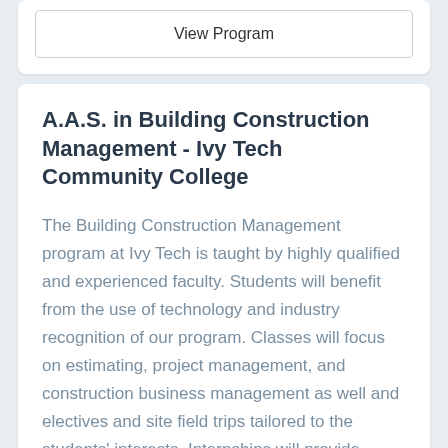View Program
A.A.S. in Building Construction Management - Ivy Tech Community College
The Building Construction Management program at Ivy Tech is taught by highly qualified and experienced faculty. Students will benefit from the use of technology and industry recognition of our program. Classes will focus on estimating, project management, and construction business management as well and electives and site field trips tailored to the students' interests. Internships will provide students with the learning experiences and confidence they